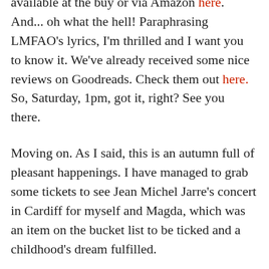available at the buy or via Amazon here. And... oh what the hell! Paraphrasing LMFAO's lyrics, I'm thrilled and I want you to know it. We've already received some nice reviews on Goodreads. Check them out here. So, Saturday, 1pm, got it, right? See you there.
Moving on. As I said, this is an autumn full of pleasant happenings. I have managed to grab some tickets to see Jean Michel Jarre's concert in Cardiff for myself and Magda, which was an item on the bucket list to be ticked and a childhood's dream fulfilled.
Following galavanting in Caerdydd, I will be reading an excerpt from a new short story during the Egyptian event in Bristol Museum's Assyrian Gallery. Ancient deities and science fiction will be combined for your entertainment, so come along. The event is part of Bristol Festival of Literature, it's